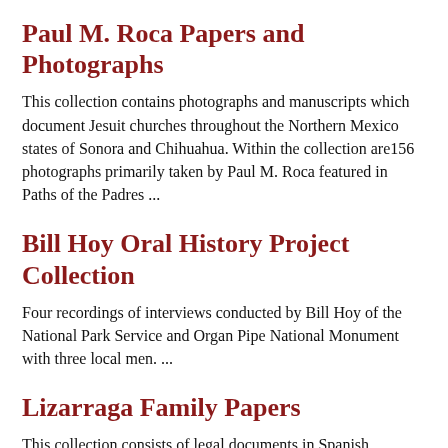Paul M. Roca Papers and Photographs
This collection contains photographs and manuscripts which document Jesuit churches throughout the Northern Mexico states of Sonora and Chihuahua. Within the collection are156 photographs primarily taken by Paul M. Roca featured in Paths of the Padres ...
Bill Hoy Oral History Project Collection
Four recordings of interviews conducted by Bill Hoy of the National Park Service and Organ Pipe National Monument with three local men. ...
Lizarraga Family Papers
This collection consists of legal documents in Spanish, pertaining